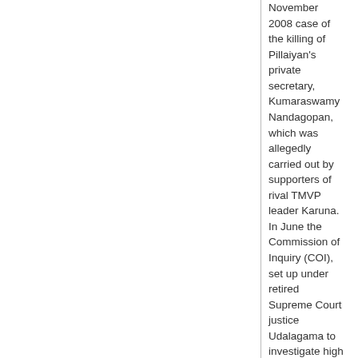November 2008 case of the killing of Pillaiyan's private secretary, Kumaraswamy Nandagopan, which was allegedly carried out by supporters of rival TMVP leader Karuna. In June the Commission of Inquiry (COI), set up under retired Supreme Court justice Udalagama to investigate high profile killings and disappearances, ceased operation. The COI did not issue a public report